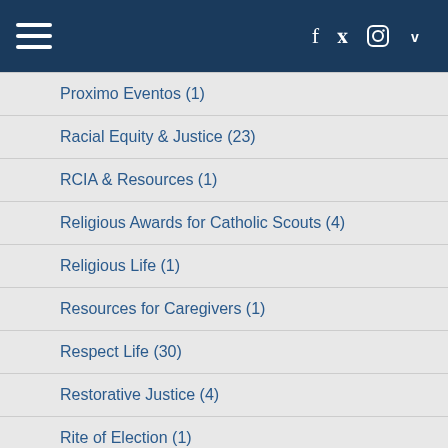Navigation header with hamburger menu and social icons (f, twitter, instagram, vimeo)
Proximo Eventos (1)
Racial Equity & Justice (23)
RCIA & Resources (1)
Religious Awards for Catholic Scouts (4)
Religious Life (1)
Resources for Caregivers (1)
Respect Life (30)
Restorative Justice (4)
Rite of Election (1)
Safe Environment (4)
Scout Retreats (1)
Social Justice (6)